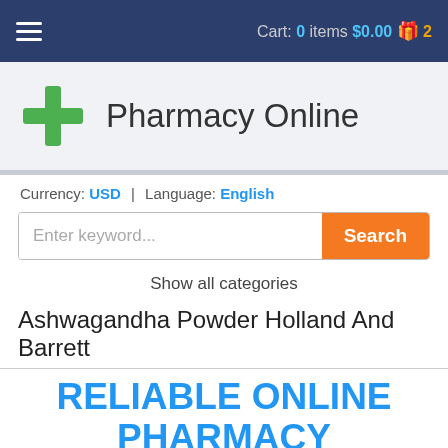Cart: 0 items $0.00 🎁 2
[Figure (logo): Green pharmacy cross logo with 'Pharmacy Online' text]
Currency: USD | Language: English
Enter keyword...
Show all categories
Ashwagandha Powder Holland And Barrett
RELIABLE ONLINE PHARMACY
> Click here to order now